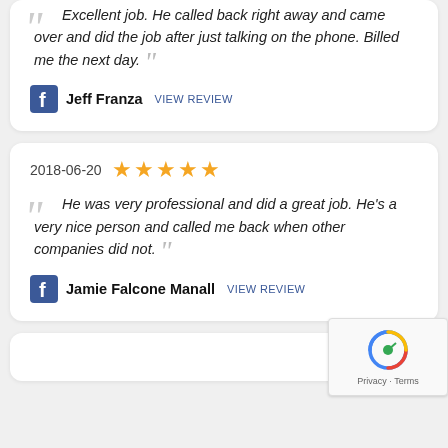Excellent job. He called back right away and came over and did the job after just talking on the phone. Billed me the next day.
Jeff Franza View review
2018-06-20 ★★★★★
He was very professional and did a great job. He's a very nice person and called me back when other companies did not.
Jamie Falcone Manall View review